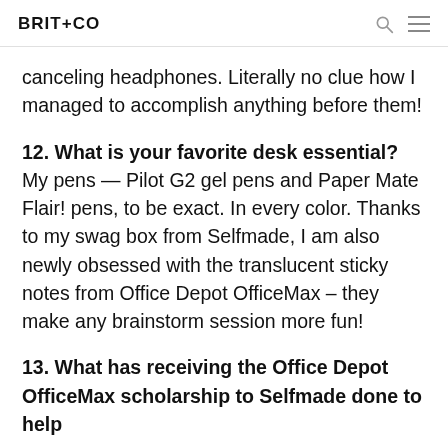BRIT+CO
canceling headphones. Literally no clue how I managed to accomplish anything before them!
12. What is your favorite desk essential? My pens — Pilot G2 gel pens and Paper Mate Flair! pens, to be exact. In every color. Thanks to my swag box from Selfmade, I am also newly obsessed with the translucent sticky notes from Office Depot OfficeMax – they make any brainstorm session more fun!
13. What has receiving the Office Depot OfficeMax scholarship to Selfmade done to help